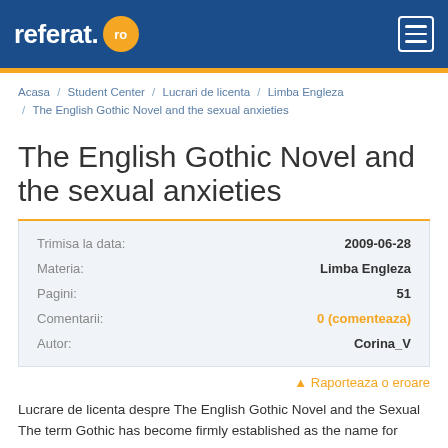referat . ro
Acasa / Student Center / Lucrari de licenta / Limba Engleza / The English Gothic Novel and the sexual anxieties
The English Gothic Novel and the sexual anxieties
| Field | Value |
| --- | --- |
| Trimisa la data: | 2009-06-28 |
| Materia: | Limba Engleza |
| Pagini: | 51 |
| Comentarii: | 0 (comenteaza) |
| Autor: | Corina_V |
▲ Raporteaza o eroare
Lucrare de licenta despre The English Gothic Novel and the Sexual The term Gothic has become firmly established as the name for